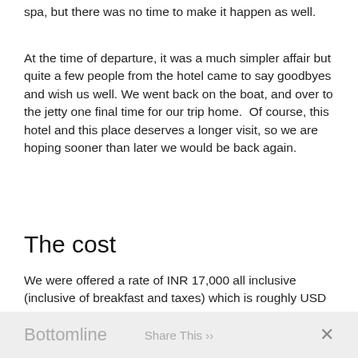spa, but there was no time to make it happen as well.
At the time of departure, it was a much simpler affair but quite a few people from the hotel came to say goodbyes and wish us well. We went back on the boat, and over to the jetty one final time for our trip home.  Of course, this hotel and this place deserves a longer visit, so we are hoping sooner than later we would be back again.
The cost
We were offered a rate of INR 17,000 all inclusive (inclusive of breakfast and taxes) which is roughly USD 260 a night. But this was low season and I’m told it would be a higher price in the peak season.
Bottomline   Share This ››   ×